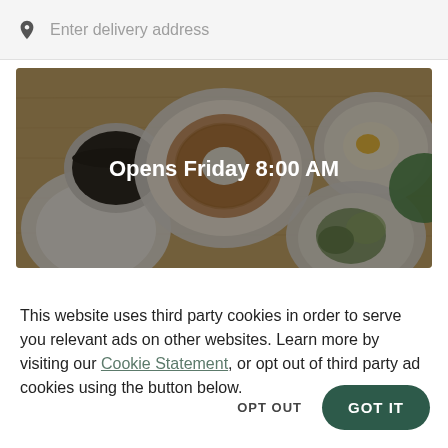Enter delivery address
[Figure (photo): Overhead view of food items on a wooden table including a donut, coffee cup, plates with eggs and vegetables, with a dark overlay and text 'Opens Friday 8:00 AM']
This website uses third party cookies in order to serve you relevant ads on other websites. Learn more by visiting our Cookie Statement, or opt out of third party ad cookies using the button below.
OPT OUT
GOT IT